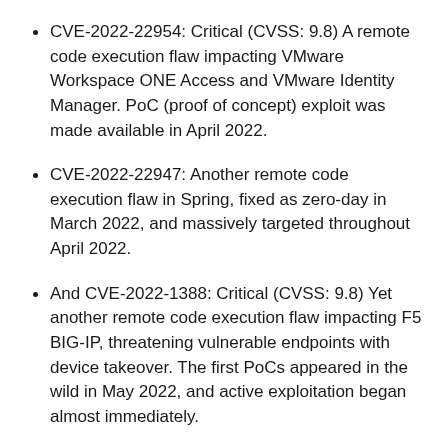CVE-2022-22954: Critical (CVSS: 9.8) A remote code execution flaw impacting VMware Workspace ONE Access and VMware Identity Manager. PoC (proof of concept) exploit was made available in April 2022.
CVE-2022-22947: Another remote code execution flaw in Spring, fixed as zero-day in March 2022, and massively targeted throughout April 2022.
And CVE-2022-1388: Critical (CVSS: 9.8) Yet another remote code execution flaw impacting F5 BIG-IP, threatening vulnerable endpoints with device takeover. The first PoCs appeared in the wild in May 2022, and active exploitation began almost immediately.
Enemybot is a genuine threat and proof positive that you don't have to be original or engage in out of the box thinking to engineer a serious piece of malware.